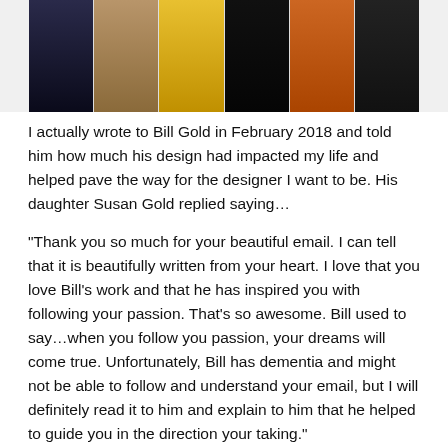[Figure (photo): A strip of movie poster thumbnails showing approximately 6 different film posters in a horizontal collage]
I actually wrote to Bill Gold in February 2018 and told him how much his design had impacted my life and helped pave the way for the designer I want to be. His daughter Susan Gold replied saying…
“Thank you so much for your beautiful email. I can tell that it is beautifully written from your heart. I love that you love Bill’s work and that he has inspired you with following your passion. That’s so awesome. Bill used to say…when you follow you passion, your dreams will come true. Unfortunately, Bill has dementia and might not be able to follow and understand your email, but I will definitely read it to him and explain to him that he helped to guide you in the direction your taking.”
Sadly Bill died just 2 months after he heard my…